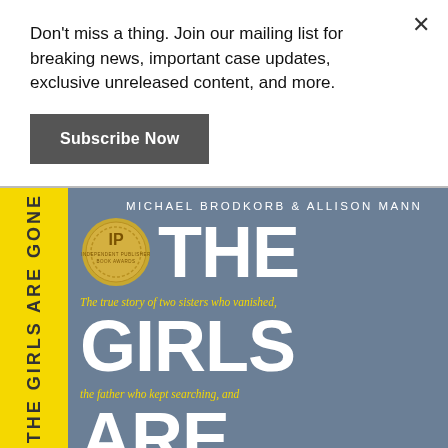Don't miss a thing. Join our mailing list for breaking news, important case updates, exclusive unreleased content, and more.
Subscribe Now
[Figure (illustration): Book cover of 'The Girls Are Gone' by Michael Brodkorb & Allison Mann. Blue-gray background with yellow spine strip showing title vertically. Large white bold text reading THE GIRLS ARE. Yellow italic subtitle text. IP Independent Publisher Book Award medallion.]